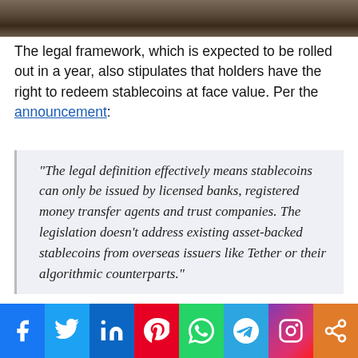[Figure (photo): Partial photo strip at top of page showing a blurred dark background surface]
The legal framework, which is expected to be rolled out in a year, also stipulates that holders have the right to redeem stablecoins at face value. Per the announcement:
“The legal definition effectively means stablecoins can only be issued by licensed banks, registered money transfer agents and trust companies. The legislation doesn’t address existing asset-backed stablecoins from overseas issuers like Tether or their algorithmic counterparts.”